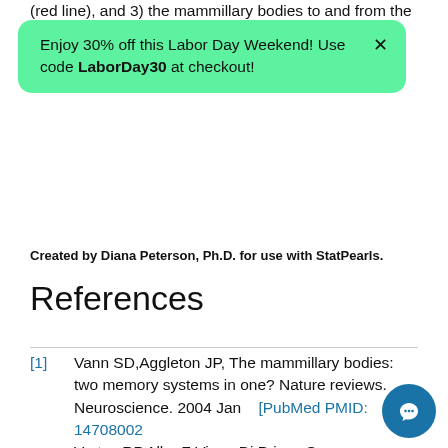(red line), and 3) the mammillary bodies to and from the tegmentum (blue line).
Enjoy 30% off this Labor Day Weekend! Use code LaborDay30 at checkout!
Created by Diana Peterson, Ph.D. for use with StatPearls.
References
[1] Vann SD,Aggleton JP, The mammillary bodies: two memory systems in one? Nature reviews. Neuroscience. 2004 Jan [PubMed PMID: 14708002
[2] Vertes RP,Albo Z,Viana Di Prisco G